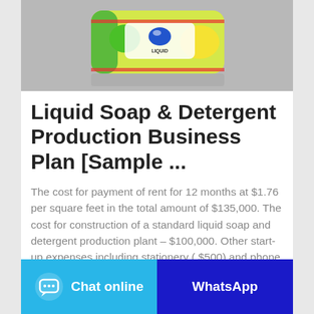[Figure (photo): Photo of liquid soap / detergent product bar with green and yellow packaging on a grey background]
Liquid Soap & Detergent Production Business Plan [Sample ...
The cost for payment of rent for 12 months at $1.76 per square feet in the total amount of $135,000. The cost for construction of a standard liquid soap and detergent production plant – $100,000. Other start-up expenses including stationery ( $500) and phone and utility deposits ( $2,500 ).